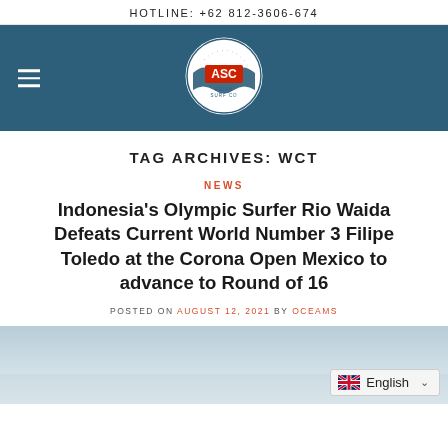HOTLINE: +62 812-3606-674
[Figure (logo): ASC Asian Surf Co circular logo with blue and red colors, wave graphic]
TAG ARCHIVES: WCT
NEWS
Indonesia's Olympic Surfer Rio Waida Defeats Current World Number 3 Filipe Toledo at the Corona Open Mexico to advance to Round of 16
POSTED ON AUGUST 12, 2021 BY OCEAMS
[Figure (photo): Ocean/surfing scene photo, light blue tones, with English language selector widget overlay]